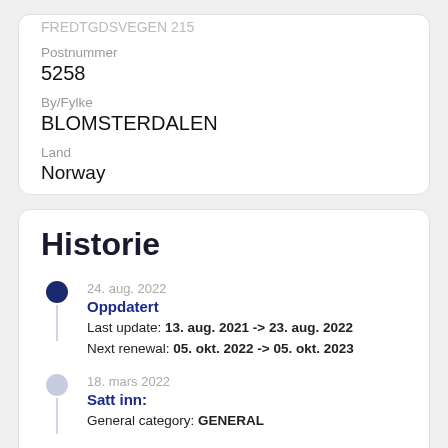FREDTGDSVEGEN 215
Postnummer
5258
By/Fylke
BLOMSTERDALEN
Land
Norway
Historie
24. aug. 2022
Oppdatert
Last update: 13. aug. 2021 -> 23. aug. 2022
Next renewal: 05. okt. 2022 -> 05. okt. 2023
18. mars 2022
Satt inn:
General category: GENERAL
13. aug. 2021